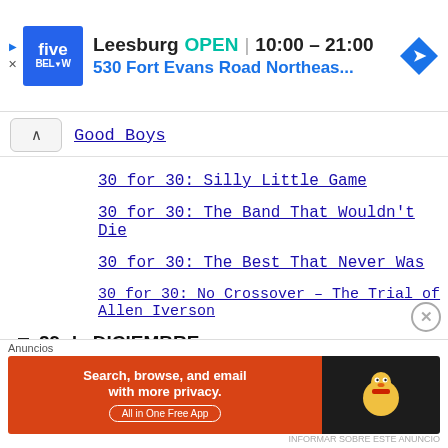[Figure (screenshot): Five Below store ad banner showing Leesburg location, OPEN, hours 10:00-21:00, address 530 Fort Evans Road Northeas..., with navigation icon]
Good Boys
30 for 30: Silly Little Game
30 for 30: The Band That Wouldn't Die
30 for 30: The Best That Never Was
30 for 30: No Crossover – The Trial of Allen Iverson
29 de DICIEMBRE
Death at the Mansion: Rebecca Zahau – Temporada 1
[Figure (screenshot): DuckDuckGo advertisement banner: Search, browse, and email with more privacy. All in One Free App]